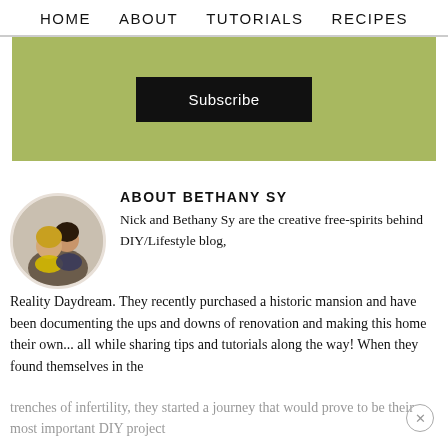HOME   ABOUT   TUTORIALS   RECIPES
[Figure (screenshot): Green subscribe section with a black 'Subscribe' button centered in an olive/sage green box]
[Figure (photo): Circular profile photo of Nick and Bethany Sy, a couple]
ABOUT BETHANY SY
Nick and Bethany Sy are the creative free-spirits behind DIY/Lifestyle blog, Reality Daydream. They recently purchased a historic mansion and have been documenting the ups and downs of renovation and making this home their own... all while sharing tips and tutorials along the way! When they found themselves in the trenches of infertility, they started a journey that would prove to be their most important DIY project